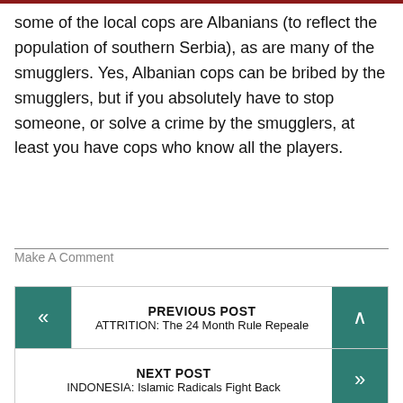some of the local cops are Albanians (to reflect the population of southern Serbia), as are many of the smugglers. Yes, Albanian cops can be bribed by the smugglers, but if you absolutely have to stop someone, or solve a crime by the smugglers, at least you have cops who know all the players.
Make A Comment
PREVIOUS POST
ATTRITION: The 24 Month Rule Repeale...
NEXT POST
INDONESIA: Islamic Radicals Fight Back